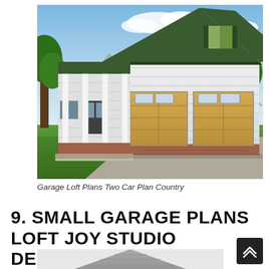[Figure (photo): Country-style two-car garage with loft, white siding, dark green gabled roof, two tan/gold garage doors, covered porch with white columns on the left side, green shuttered dormer window, set against a scenic background of mountains, blue sky, and green trees.]
Garage Loft Plans Two Car Plan Country
9. SMALL GARAGE PLANS LOFT JOY STUDIO DESIGN
[Figure (photo): Partial view of a small garage with loft, gray shingled gabled roof visible at the bottom of the page.]